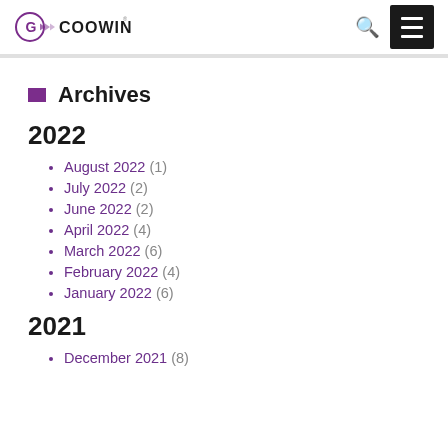COOWIN
Archives
2022
August 2022 (1)
July 2022 (2)
June 2022 (2)
April 2022 (4)
March 2022 (6)
February 2022 (4)
January 2022 (6)
2021
December 2021 (8)